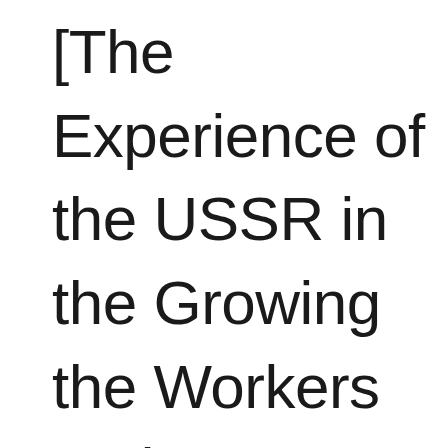[The Experience of the USSR in the Growing the Workers and Peasants as the